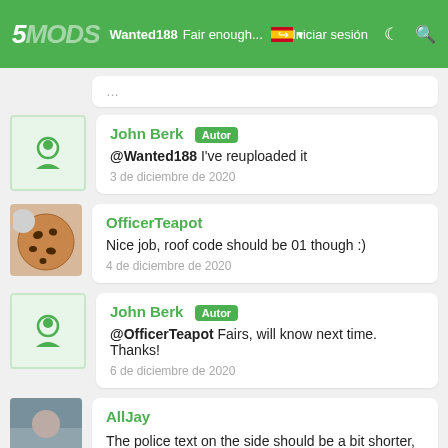5MODS — Wanted188 Fair enough → Iniciar sesión
John Berk [Autor] @Wanted188 I've reuploaded it — 3 de diciembre de 2020
OfficerTeapot — Nice job, roof code should be 01 though :) — 4 de diciembre de 2020
John Berk [Autor] @OfficerTeapot Fairs, will know next time. Thanks! — 6 de diciembre de 2020
AllJay — The police text on the side should be a bit shorter, also there needs to be a hi-vis strip on the bonnet where it says Police. The circle on the top is a tad too big as